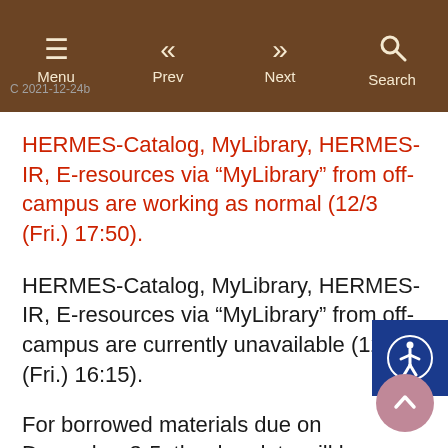Menu  Prev  Next  Search
HERMES-Catalog, MyLibrary, HERMES-IR, E-resources via “MyLibrary” from off-campus are working as normal (12/3 (Fri.) 17:50).
HERMES-Catalog, MyLibrary, HERMES-IR, E-resources via “MyLibrary” from off-campus are currently unavailable (12/3 (Fri.) 16:15).
For borrowed materials due on December 3-5, the due date will be extended to December 6, 2021.
We are investigating causes and will take actions.
We apologize for the inconvenience.